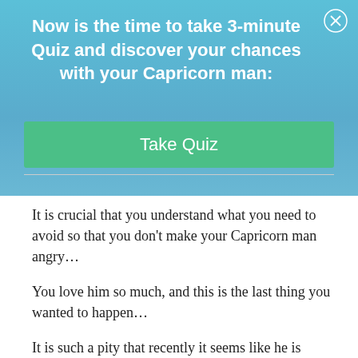Now is the time to take 3-minute Quiz and discover your chances with your Capricorn man:
[Figure (other): Green 'Take Quiz' button]
It is crucial that you understand what you need to avoid so that you don’t make your Capricorn man angry…
You love him so much, and this is the last thing you wanted to happen…
It is such a pity that recently it seems like he is trying to actively avoid you…